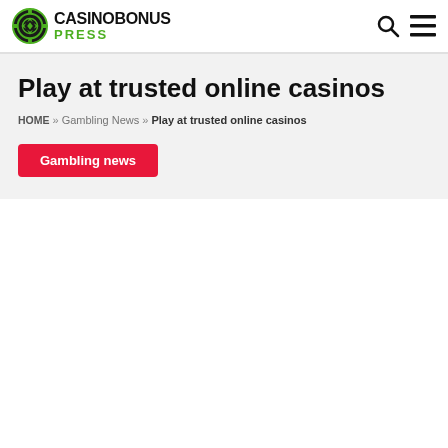[Figure (logo): CasinoBonusPress logo with poker chip icon and text]
Play at trusted online casinos
HOME » Gambling News » Play at trusted online casinos
Gambling news